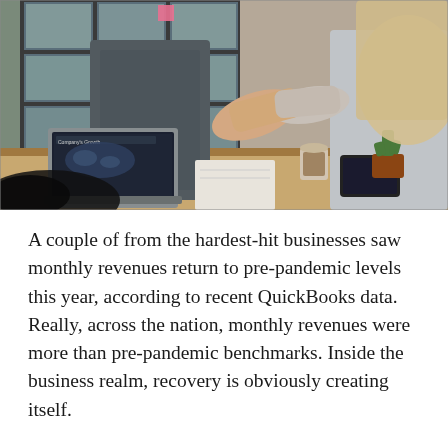[Figure (photo): Office scene showing two people shaking hands across a conference table. A laptop with 'Company's Growth' displayed on screen is visible in the foreground. A tablet, notebook, small cactus in a pot, and a coffee cup are also on the table. One person wears a patterned grey shirt, the other a light grey long-sleeve top. Window with grid panes visible in background.]
A couple of from the hardest-hit businesses saw monthly revenues return to pre-pandemic levels this year, according to recent QuickBooks data. Really, across the nation, monthly revenues were more than pre-pandemic benchmarks. Inside the business realm, recovery is obviously creating itself.
But running small businesses in 2021 isn't any